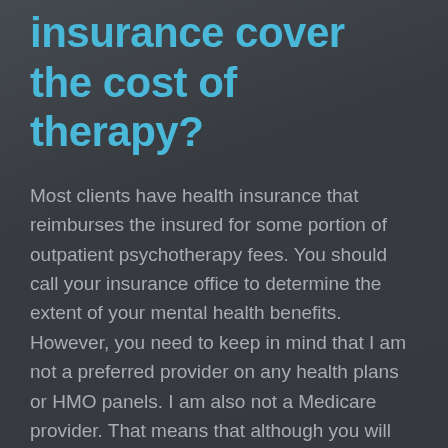insurance cover the cost of therapy?
Most clients have health insurance that reimburses the insured for some portion of outpatient psychotherapy fees. You should call your insurance office to determine the extent of your mental health benefits. However, you need to keep in mind that I am not a preferred provider on any health plans or HMO panels. I am also not a Medicare provider. That means that although you will